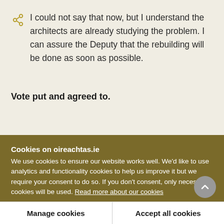I could not say that now, but I understand the architects are already studying the problem. I can assure the Deputy that the rebuilding will be done as soon as possible.
Vote put and agreed to.
Cookies on oireachtas.ie
We use cookies to ensure our website works well. We'd like to use analytics and functionality cookies to help us improve it but we require your consent to do so. If you don't consent, only necessary cookies will be used. Read more about our cookies
Manage cookies
Accept all cookies